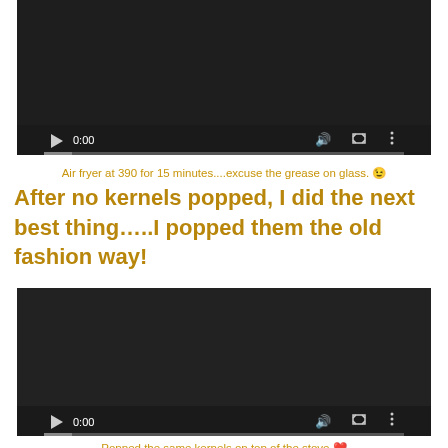[Figure (screenshot): Video player with dark background, play button, time 0:00, and controls bar]
Air fryer at 390 for 15 minutes....excuse the grease on glass. 😉
After no kernels popped, I did the next best thing…..I popped them the old fashion way!
[Figure (screenshot): Second video player with dark background, play button, time 0:00, and controls bar]
Popped the same kernels on top of the stove ❤️